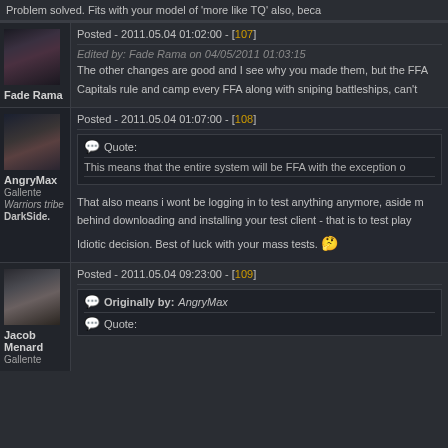Problem solved. Fits with your model of 'more like TQ' also, beca
Posted - 2011.05.04 01:02:00 - [107]
Edited by: Fade Rama on 04/05/2011 01:03:15
The other changes are good and I see why you made them, but the FFA
Capitals rule and camp every FFA along with sniping battleships, can't
Posted - 2011.05.04 01:07:00 - [108]
Quote:
This means that the entire system will be FFA with the exception o
That also means i wont be logging in to test anything anymore, aside m behind downloading and installing your test client - that is to test play
Idiotic decision. Best of luck with your mass tests.
Posted - 2011.05.04 09:23:00 - [109]
Originally by: AngryMax
Quote: